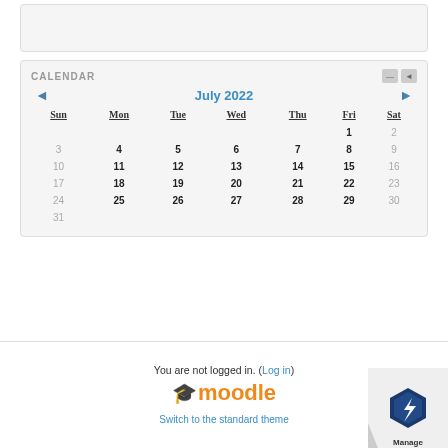[Figure (screenshot): Top empty gray box widget area]
CALENDAR
[Figure (other): Calendar widget showing July 2022 with navigation arrows, day headers Sun Mon Tue Wed Thu Fri Sat, and dates 1-31]
You are not logged in. (Log in)
[Figure (logo): Moodle logo with graduation cap and orange text]
Switch to the standard theme
[Figure (logo): Manage badge/logo in bottom right corner]